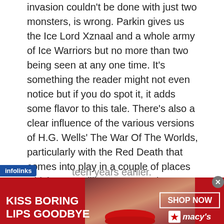invasion couldn't be done with just two monsters, is wrong. Parkin gives us the Ice Lord Xznaal and a whole army of Ice Warriors but no more than two being seen at any one time. It's something the reader might not even notice but if you do spot it, it adds some flavor to this tale. There's also a clear influence of the various versions of H.G. Wells' The War Of The Worlds, particularly with the Red Death that comes into play in a couple of places which seems like a more modern update of the Black Smoke used by the Martians in that story. Also, for those who complained about the 2013 Mark Gatiss penned episode Cold War featuring an Ice Lord in an Ice Warrior uniform, they should perhaps take the time to track this book down because Parkin in fact did that more
teen years earlier.
[Figure (other): Advertisement banner for Macy's lipstick product. Red background with photo of woman with red lipstick. Text reads 'KISS BORING LIPS GOODBYE' on left, 'SHOP NOW' button and Macy's star logo on right.]